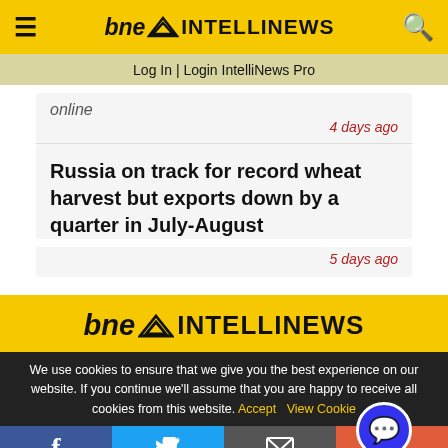bne INTELLINEWS
Log In | Login IntelliNews Pro
online
4 days ago
Russia on track for record wheat harvest but exports down by a quarter in July-August
5 days ago
[Figure (logo): bne INTELLINEWS logo on yellow background]
We use cookies to ensure that we give you the best experience on our website. If you continue we'll assume that you are happy to receive all cookies from this website. Accept  View Cookie
Social share bar: Facebook, Twitter, Email